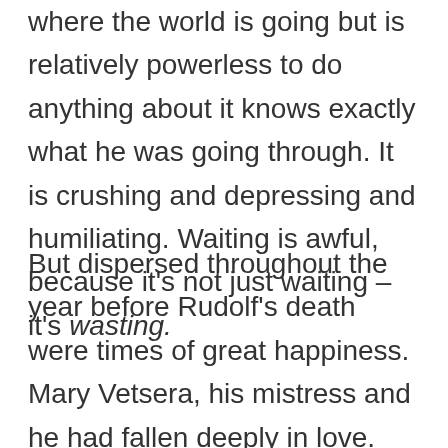where the world is going but is relatively powerless to do anything about it knows exactly what he was going through. It is crushing and depressing and humiliating. Waiting is awful, because it's not just waiting – it's wasting.
But dispersed throughout the year before Rudolf's death were times of great happiness. Mary Vetsera, his mistress and he had fallen deeply in love. Through conduits, he'd found exciting ways to subvert the empire and he was certain that change was coming. And then he let